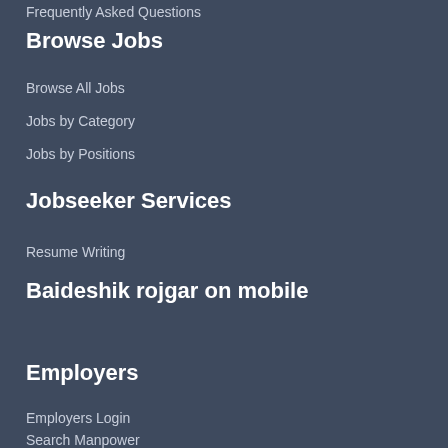Frequently Asked Questions
Browse Jobs
Browse All Jobs
Jobs by Category
Jobs by Positions
Jobseeker Services
Resume Writing
Baideshik rojgar on mobile
Employers
Employers Login
Search Manpower